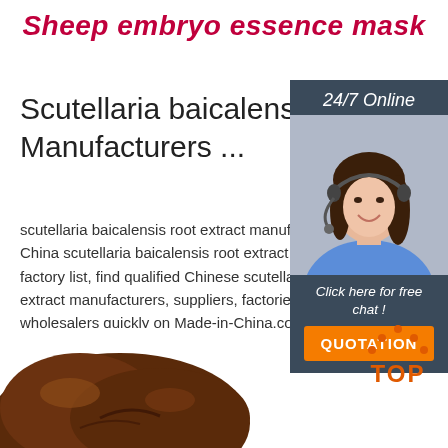Sheep embryo essence mask
Scutellaria baicalensis root Manufacturers ...
scutellaria baicalensis root extract manufacturer/ China scutellaria baicalensis root extract manufacturer factory list, find qualified Chinese scutellaria baicalensis root extract manufacturers, suppliers, factories, exporters, wholesalers quickly on Made-in-China.com.
[Figure (infographic): 24/7 Online customer service panel with a female agent wearing headset, 'Click here for free chat!' text, and orange QUOTATION button]
Get Price
[Figure (photo): Brown glossy sheep embryo essence mask product shown at the bottom of the page]
[Figure (infographic): Orange TOP button with dots arranged as a triangle above the text]